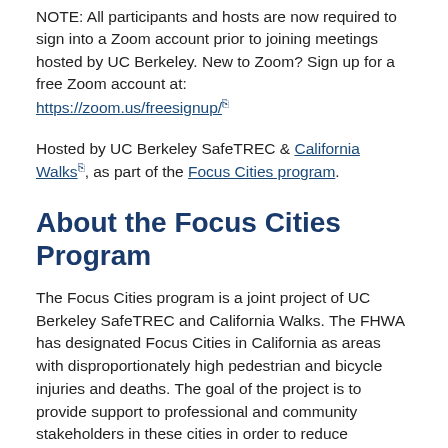NOTE: All participants and hosts are now required to sign into a Zoom account prior to joining meetings hosted by UC Berkeley. New to Zoom? Sign up for a free Zoom account at: https://zoom.us/freesignup/
Hosted by UC Berkeley SafeTREC & California Walks, as part of the Focus Cities program.
About the Focus Cities Program
The Focus Cities program is a joint project of UC Berkeley SafeTREC and California Walks. The FHWA has designated Focus Cities in California as areas with disproportionately high pedestrian and bicycle injuries and deaths. The goal of the project is to provide support to professional and community stakeholders in these cities in order to reduce pedestrian/bicycle injury crashes. The current California Focus Cities are San Francisco, San Jose, Fresno, Bakersfield, Los Angeles, Santa Ana, and San Diego. Our team supports local advocacy as well as community and agency partner efforts to engage and educate residents on